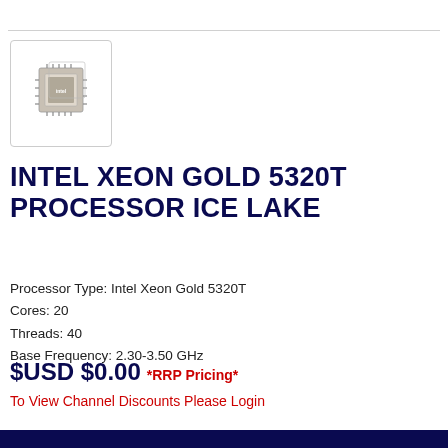[Figure (photo): Intel Xeon Gold processor chip product thumbnail image shown in a bordered box]
INTEL XEON GOLD 5320T PROCESSOR ICE LAKE
Processor Type: Intel Xeon Gold 5320T
Cores: 20
Threads: 40
Base Frequency: 2.30-3.50 GHz
$USD $0.00 *RRP Pricing*
To View Channel Discounts Please Login